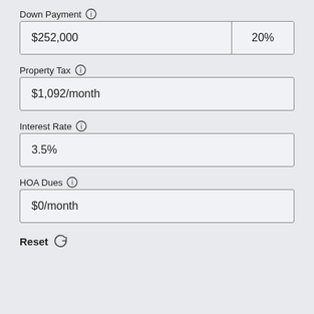Down Payment ℹ
| amount | percent |
| --- | --- |
| $252,000 | 20% |
Property Tax ℹ
| amount |
| --- |
| $1,092/month |
Interest Rate ℹ
| rate |
| --- |
| 3.5% |
HOA Dues ℹ
| amount |
| --- |
| $0/month |
Reset ↺